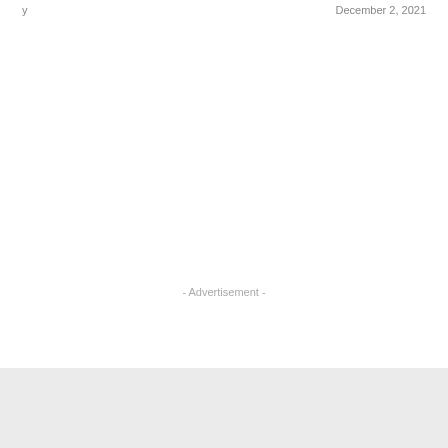y                    December 2, 2021
- Advertisement -
PlayPark has recently announced MU Lords, and